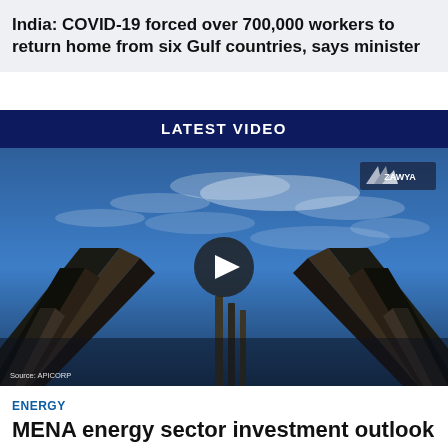India: COVID-19 forced over 700,000 workers to return home from six Gulf countries, says minister
LATEST VIDEO
[Figure (screenshot): Video thumbnail showing industrial pipelines against a blue cloudy sky, with a play button overlay. Source: APICORP. Zawya logo in top right corner.]
ENERGY
MENA energy sector investment outlook